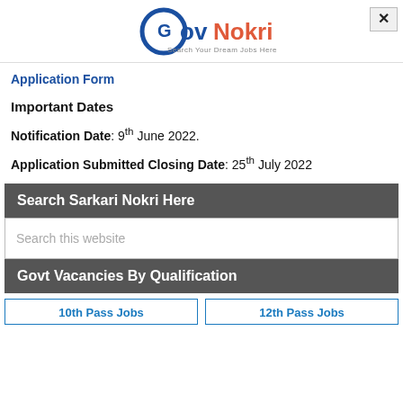[Figure (logo): GovNokri logo with tagline 'Search Your Dream Jobs Here']
Application Form
Important Dates
Notification Date: 9th June 2022.
Application Submitted Closing Date: 25th July 2022
Search Sarkari Nokri Here
Search this website
Govt Vacancies By Qualification
10th Pass Jobs
12th Pass Jobs